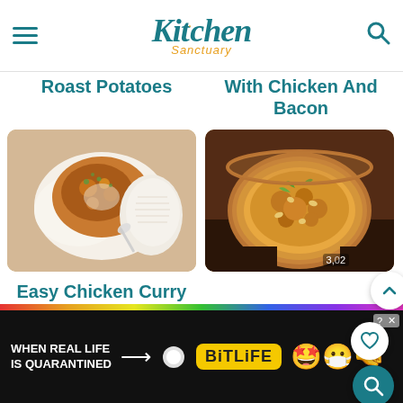Kitchen Sanctuary
Roast Potatoes
With Chicken And Bacon
[Figure (photo): Easy Chicken Curry dish photo - curry with rice in a white bowl]
Easy Chicken Curry
[Figure (photo): Easy Satay Sauce Recipe photo - satay sauce in a copper bowl with toppings]
Easy Satay Sauce Recipe
[Figure (other): BitLife advertisement banner - When Real Life Is Quarantined]